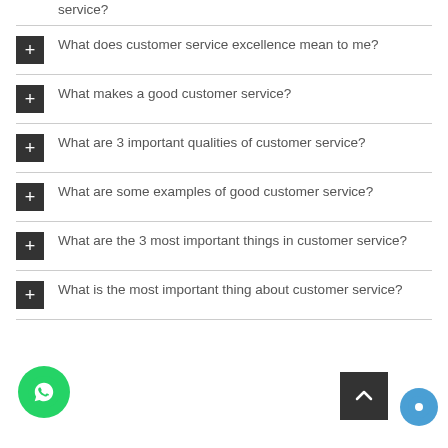service?
What does customer service excellence mean to me?
What makes a good customer service?
What are 3 important qualities of customer service?
What are some examples of good customer service?
What are the 3 most important things in customer service?
What is the most important thing about customer service?